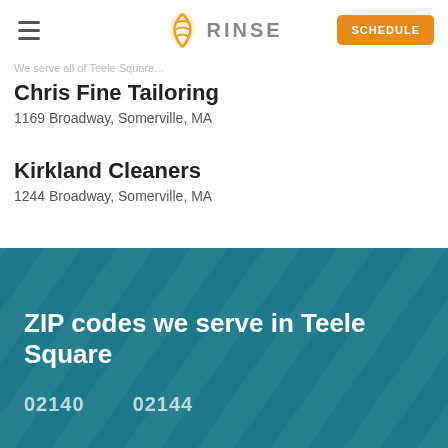RINSE | SCHEDULE
We serve all of Teele Square
Chris Fine Tailoring
1169 Broadway, Somerville, MA
Kirkland Cleaners
1244 Broadway, Somerville, MA
ZIP codes we serve in Teele Square
02140    02144